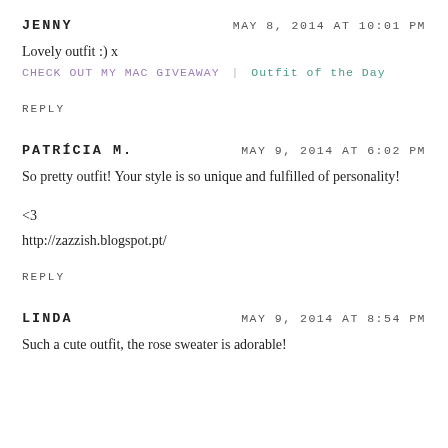JENNY | MAY 8, 2014 AT 10:01 PM
Lovely outfit :) x
CHECK OUT MY MAC GIVEAWAY | Outfit of the Day
REPLY
PATRÍCIA M. | MAY 9, 2014 AT 6:02 PM
So pretty outfit! Your style is so unique and fulfilled of personality!
<3
http://zazzish.blogspot.pt/
REPLY
LINDA | MAY 9, 2014 AT 8:54 PM
Such a cute outfit, the rose sweater is adorable!